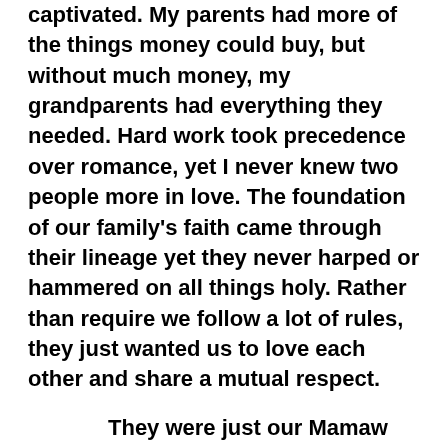...are in the city that I found myself completely captivated.  My parents had more of the things money could buy, but without much money, my grandparents had everything they needed.  Hard work took precedence over romance, yet I never knew two people more in love.  The foundation of our family's faith came through their lineage yet they never harped or hammered on all things holy. Rather than require we follow a lot of rules, they just wanted us to love each other and share a mutual respect.

They were just our Mamaw and Papaw.

She liked pretty dresses and shiny brooches.  He was happy in bib overalls and an old dirty cap.  They were kind, gentle and giving.  While others often talked of what they would do with large sums of money, my grandparents gave from what little they...